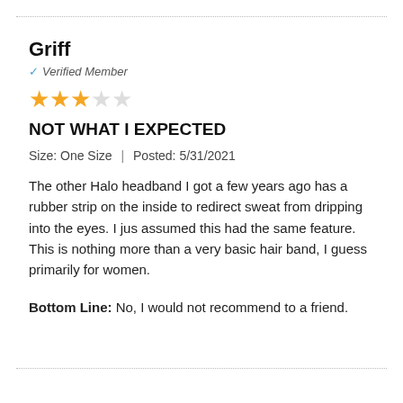Griff
✓ Verified Member
[Figure (other): 3 filled stars and 2 empty stars rating (3 out of 5)]
NOT WHAT I EXPECTED
Size: One Size  |  Posted: 5/31/2021
The other Halo headband I got a few years ago has a rubber strip on the inside to redirect sweat from dripping into the eyes. I jus assumed this had the same feature. This is nothing more than a very basic hair band, I guess primarily for women.
Bottom Line: No, I would not recommend to a friend.